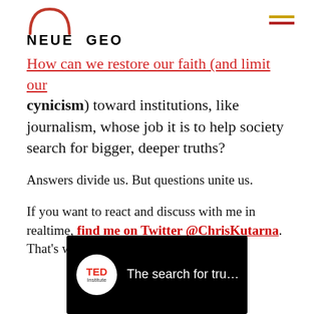NEUE GEO
How can we restore our faith (and limit our cynicism) toward institutions, like journalism, whose job it is to help society search for bigger, deeper truths?
Answers divide us. But questions unite us.
If you want to react and discuss with me in realtime, find me on Twitter @ChrisKutarna. That's where I'll be.
[Figure (screenshot): TED Institute video thumbnail with title 'The search for tru...' on dark background]